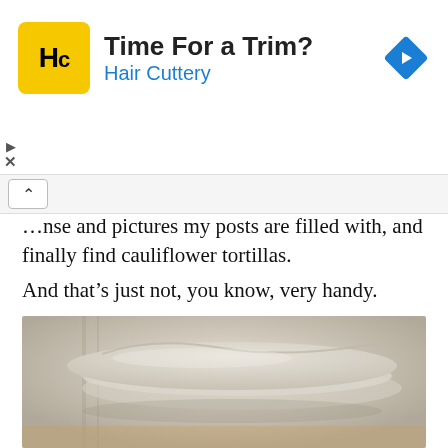[Figure (other): Hair Cuttery advertisement banner. Logo: yellow square with HC monogram. Title: 'Time For a Trim?' Subtitle: 'Hair Cuttery'. Blue diamond arrow icon on right.]
...nse and pictures my posts are filled with, and finally find cauliflower tortillas.
And that's just not, you know, very handy.
That's why I wanted to post just the recipe for cauliflower tortillas.
And I did, right here. All right?
[Figure (photo): Close-up photo of cauliflower tortillas stacked, with blurred background showing rustic wooden surface. Light beige/cream colored tortillas visible.]